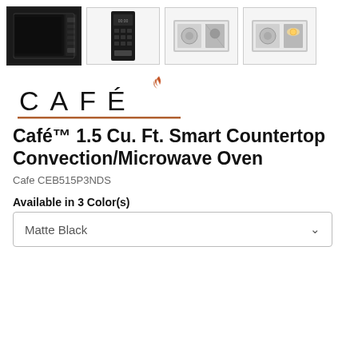[Figure (photo): Thumbnail gallery of Café microwave oven showing 4 product images: front view (selected/highlighted), control panel view, side/interior view, and another side view with light.]
[Figure (logo): Café brand logo with stylized text 'CAFÉ' in wide-letter-spaced uppercase with a flame accent above the É, and a copper/bronze underline bar beneath.]
Café™ 1.5 Cu. Ft. Smart Countertop Convection/Microwave Oven
Cafe CEB515P3NDS
Available in 3 Color(s)
Matte Black